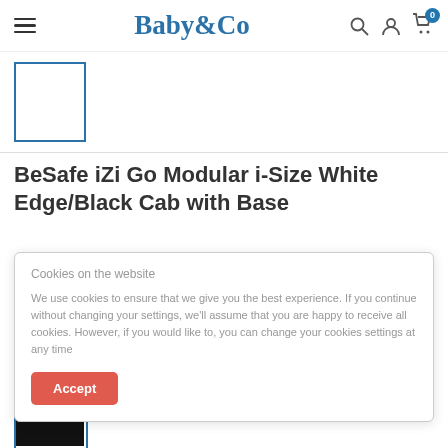Baby&Co navigation header with hamburger menu, logo, search, account, and cart icons
[Figure (screenshot): Selected product thumbnail placeholder with blue border]
BeSafe iZi Go Modular i-Size White Edge/Black Cab with Base
Cookies on the website

We use cookies to ensure that we give you the best experience. If you continue without changing your settings, we'll assume that you are happy to receive all cookies. However, if you would like to, you can change your cookies settings at any time
Accept